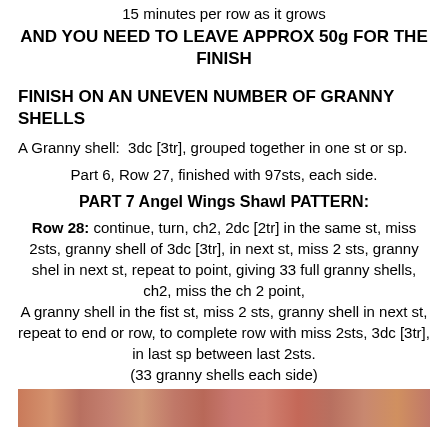15 minutes per row as it grows
AND YOU NEED TO LEAVE APPROX 50g FOR THE FINISH
FINISH ON AN UNEVEN NUMBER OF GRANNY SHELLS
A Granny shell:  3dc [3tr], grouped together in one st or sp.
Part 6, Row 27, finished with 97sts, each side.
PART 7 Angel Wings Shawl PATTERN:
Row 28: continue, turn, ch2, 2dc [2tr] in the same st, miss 2sts, granny shell of 3dc [3tr], in next st, miss 2 sts, granny shel in next st, repeat to point, giving 33 full granny shells, ch2, miss the ch 2 point, A granny shell in the fist st, miss 2 sts, granny shell in next st, repeat to end or row, to complete row with miss 2sts, 3dc [3tr], in last sp between last 2sts. (33 granny shells each side)
[Figure (photo): Photo strip showing colorful knitted/crocheted shawl fabric in warm tones]